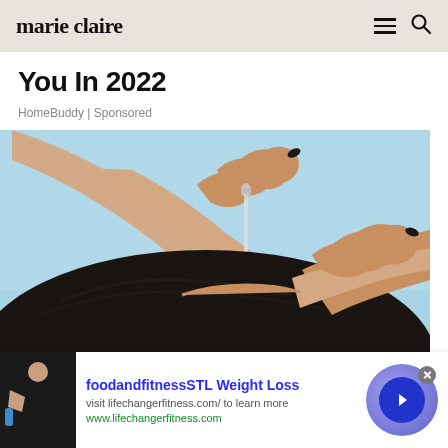marie claire
You In 2022
HomeBuddy | Sponsored
[Figure (photo): Woman applying hair serum with a dropper to her scalp, hands with black nail polish against a light blue background]
[Figure (photo): Advertisement: foodandfitnessSTL Weight Loss - visit lifechangerfitness.com/ to learn more. www.lifechangerfitness.com]